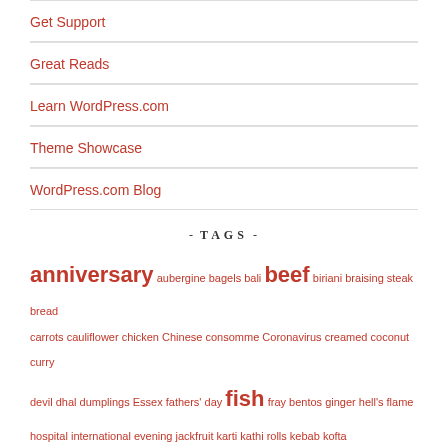Get Support
Great Reads
Learn WordPress.com
Theme Showcase
WordPress.com Blog
- TAGS -
anniversary aubergine bagels bali beef biriani braising steak bread carrots cauliflower chicken Chinese consomme Coronavirus creamed coconut curry devil dhal dumplings Essex fathers' day fish fray bentos ginger hell's flame hospital international evening jackfruit karti kathi rolls kebab kofta